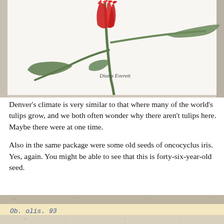[Figure (photo): Photograph of a book cover showing a botanical illustration of a red tulip with green leaves and stem on a white background, with the text 'Diana Everett' printed on the cover.]
Denver's climate is very similar to that where many of the world's tulips grow, and we both often wonder why there aren't tulips here. Maybe there were at one time.
Also in the same package were some old seeds of oncocyclus iris. Yes, again. You might be able to see that this is forty-six-year-old seed.
[Figure (photo): Photograph of an old seed packet or envelope with handwritten blue ink text on yellowed paper, showing partial writing.]